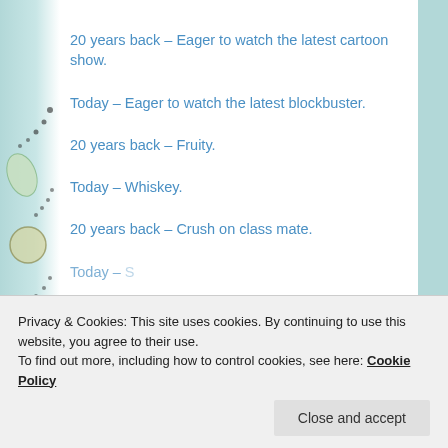20 years back – Eager to watch the latest cartoon show.
Today – Eager to watch the latest blockbuster.
20 years back – Fruity.
Today – Whiskey.
20 years back – Crush on class mate.
Today – [partially visible]
Privacy & Cookies: This site uses cookies. By continuing to use this website, you agree to their use.
To find out more, including how to control cookies, see here: Cookie Policy
Close and accept